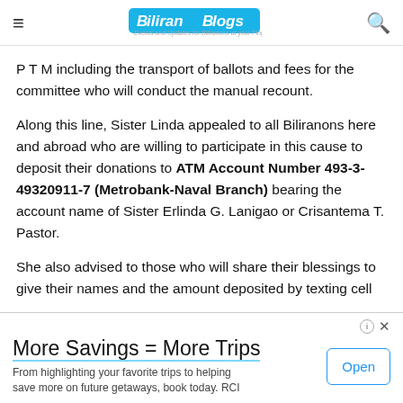Biliran Blogs — Events and Updates for Biliranons at your Fingertips
P T M including the transport of ballots and fees for the committee who will conduct the manual recount.
Along this line, Sister Linda appealed to all Biliranons here and abroad who are willing to participate in this cause to deposit their donations to ATM Account Number 493-3-49320911-7 (Metrobank-Naval Branch) bearing the account name of Sister Erlinda G. Lanigao or Crisantema T. Pastor.
She also advised to those who will share their blessings to give their names and the amount deposited by texting cell r 09164510839 for due recognition.
[Figure (other): Advertisement banner: More Savings = More Trips — From highlighting your favorite trips to helping save more on future getaways, book today. RCI. Open button.]